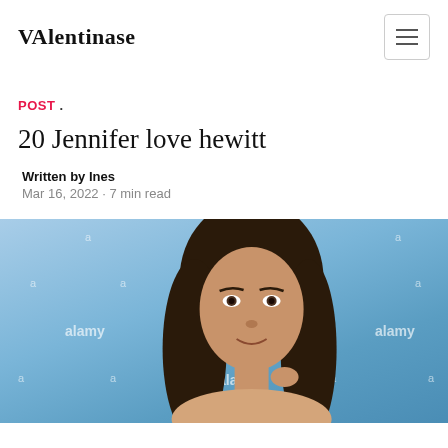VAlentinase
POST .
20 Jennifer love hewitt
Written by Ines
Mar 16, 2022 · 7 min read
[Figure (photo): Stock photo of a young woman with long dark hair against a blue cloudy background, with Alamy watermarks overlaid]